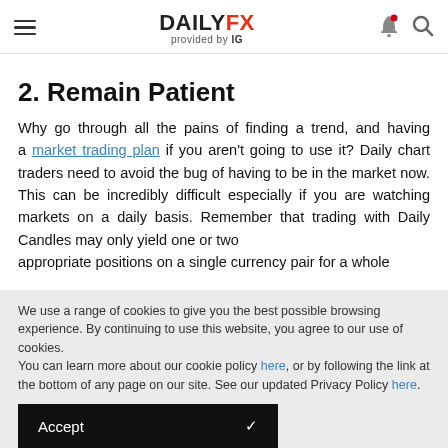DAILYFX provided by IG
2. Remain Patient
Why go through all the pains of finding a trend, and having a market trading plan if you aren't going to use it? Daily chart traders need to avoid the bug of having to be in the market now. This can be incredibly difficult especially if you are watching markets on a daily basis. Remember that trading with Daily Candles may only yield one or two appropriate positions on a single currency pair for a whole
We use a range of cookies to give you the best possible browsing experience. By continuing to use this website, you agree to our use of cookies.
You can learn more about our cookie policy here, or by following the link at the bottom of any page on our site. See our updated Privacy Policy here.
Accept